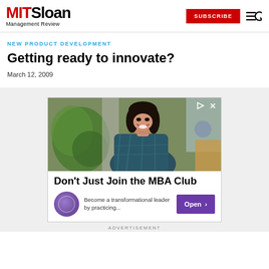MIT Sloan Management Review — SUBSCRIBE (button) — menu/search icons
NEW PRODUCT DEVELOPMENT
Getting ready to innovate?
March 12, 2009
[Figure (photo): Advertisement banner: Photo of a smiling Asian woman in a dark plaid blazer with plants and modern office in background. Ad text reads: Don't Just Join the MBA Club. Become a transformational leader by practicing... Open > button. Purple seal/logo icon. X and play icons at top right corner.]